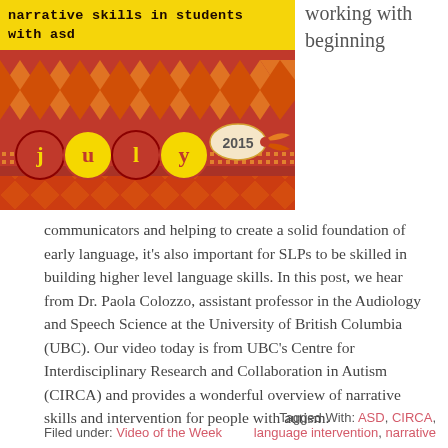[Figure (illustration): Banner image with red and orange diamond/harlequin pattern, text 'narrative skills in students with ASD' in stylized dark font on yellow background, 'july' in red decorative circles, '2015' on a tag shape, orange ribbon bow.]
working with beginning
communicators and helping to create a solid foundation of early language, it's also important for SLPs to be skilled in building higher level language skills. In this post, we hear from Dr. Paola Colozzo, assistant professor in the Audiology and Speech Science at the University of British Columbia (UBC). Our video today is from UBC's Centre for Interdisciplinary Research and Collaboration in Autism (CIRCA) and provides a wonderful overview of narrative skills and intervention for people with autism.
Filed under: Video of the Week     Tagged With: ASD, CIRCA, language intervention, narrative